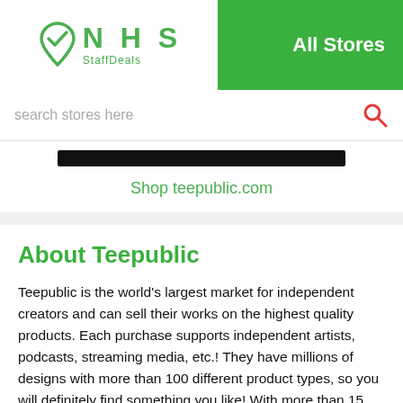[Figure (logo): NHS StaffDeals logo with green heart/checkmark icon and green NHS text with StaffDeals subtitle]
All Stores
search stores here
[Figure (screenshot): Black bar representing store banner image]
Shop teepublic.com
About Teepublic
Teepublic is the world's largest market for independent creators and can sell their works on the highest quality products. Each purchase supports independent artists, podcasts, streaming media, etc.! They have millions of designs with more than 100 different product types, so you will definitely find something you like! With more than 15 years of experience, their team focuses on quality and sets the